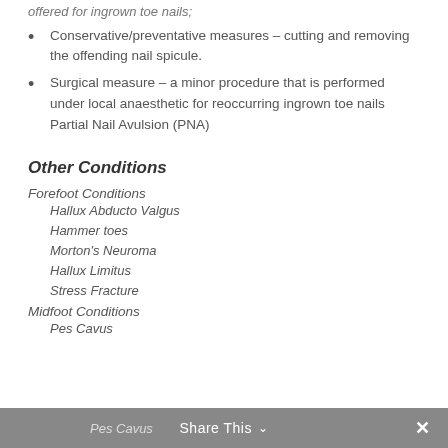offered for ingrown toe nails;
Conservative/preventative measures – cutting and removing the offending nail spicule.
Surgical measure – a minor procedure that is performed under local anaesthetic for reoccurring ingrown toe nails Partial Nail Avulsion (PNA)
Other Conditions
Forefoot Conditions
Hallux Abducto Valgus
Hammer toes
Morton's Neuroma
Hallux Limitus
Stress Fracture
Midfoot Conditions
Pes Cavus
Share This  ✕